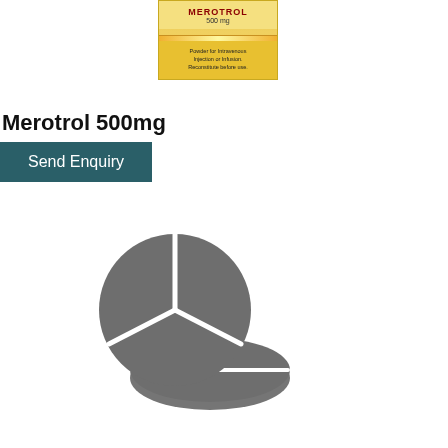[Figure (photo): Merotrol 500mg drug package box — yellow box with red drug name, dosage and powder for intravenous injection label]
Merotrol 500mg
Send Enquiry
[Figure (illustration): Gray icon of pharmaceutical tablets/pills — one circular pill with cross score and one oval pill]